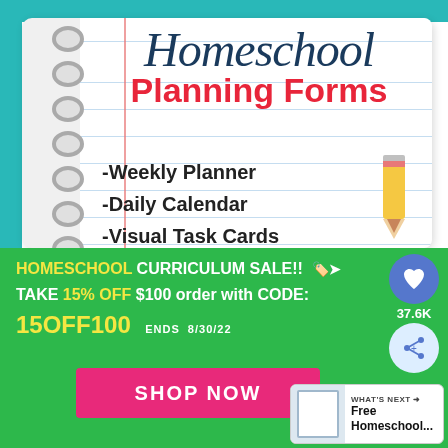[Figure (illustration): Homeschool Planning Forms notebook cover showing a spiral-bound notebook with title in cursive 'Homeschool' and bold red 'Planning Forms', listing: -Weekly Planner, -Daily Calendar, -Visual Task Cards, -Curriculum Plan, with a pencil illustration]
HOMESCHOOL CURRICULUM SALE!! TAKE 15% OFF $100 order with CODE: 15OFF100  ENDS  8/30/22
SHOP NOW